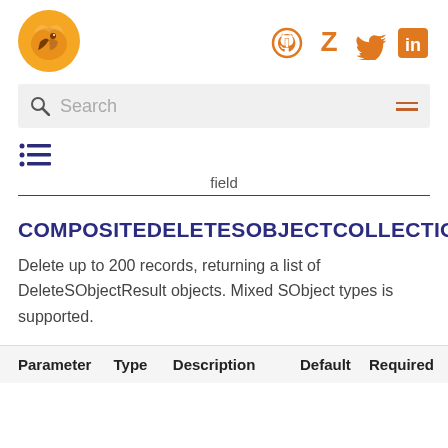[Figure (logo): Orange bird/fox logo in a circle]
[Figure (logo): Social media icons: GitHub, Zotero, Twitter, LinkedIn in orange]
[Figure (other): Search bar with magnifying glass icon and hamburger menu]
[Figure (other): List/table of contents icon]
field
COMPOSITEDELETESOBJECTCOLLECTIONS
Delete up to 200 records, returning a list of DeleteSObjectResult objects. Mixed SObject types is supported.
| Parameter | Type | Description | Default | Required |
| --- | --- | --- | --- | --- |